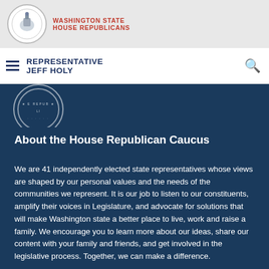WASHINGTON STATE HOUSE REPUBLICANS
REPRESENTATIVE JEFF HOLY
About the House Republican Caucus
We are 41 independently elected state representatives whose views are shaped by our personal values and the needs of the communities we represent. It is our job to listen to our constituents, amplify their voices in Legislature, and advocate for solutions that will make Washington state a better place to live, work and raise a family. We encourage you to learn more about our ideas, share our content with your family and friends, and get involved in the legislative process. Together, we can make a difference.